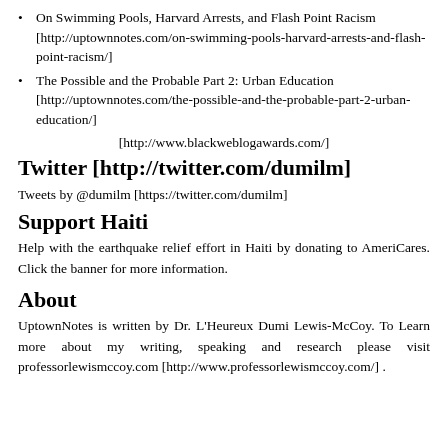On Swimming Pools, Harvard Arrests, and Flash Point Racism [http://uptownnotes.com/on-swimming-pools-harvard-arrests-and-flash-point-racism/]
The Possible and the Probable Part 2: Urban Education [http://uptownnotes.com/the-possible-and-the-probable-part-2-urban-education/]
[http://www.blackweblogawards.com/]
Twitter [http://twitter.com/dumilm]
Tweets by @dumilm [https://twitter.com/dumilm]
Support Haiti
Help with the earthquake relief effort in Haiti by donating to AmeriCares. Click the banner for more information.
About
UptownNotes is written by Dr. L'Heureux Dumi Lewis-McCoy. To Learn more about my writing, speaking and research please visit professorlewismccoy.com [http://www.professorlewismccoy.com/] .